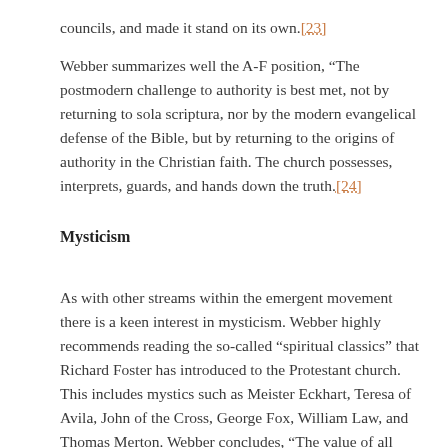councils, and made it stand on its own.[23]
Webber summarizes well the A-F position, “The postmodern challenge to authority is best met, not by returning to sola scriptura, nor by the modern evangelical defense of the Bible, but by returning to the origins of authority in the Christian faith. The church possesses, interprets, guards, and hands down the truth.[24]
Mysticism
As with other streams within the emergent movement there is a keen interest in mysticism. Webber highly recommends reading the so-called “spiritual classics” that Richard Foster has introduced to the Protestant church. This includes mystics such as Meister Eckhart, Teresa of Avila, John of the Cross, George Fox, William Law, and Thomas Merton. Webber concludes, “The value of all these books is indispensable to spirituality. Those